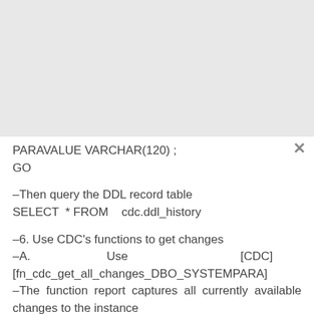PARAVALUE VARCHAR(120) ;
GO
–Then query the DDL record table
SELECT  * FROM    cdc.ddl_history
–6. Use CDC's functions to get changes
–A.                         Use                              [CDC][fn_cdc_get_all_changes_DBO_SYSTEMPARA]
–The function report captures all currently available changes to the instance
DECLARE @from_lsn BINARY(10) ,
    @to_lsn BINARY(10)
SET                         @from_lsn